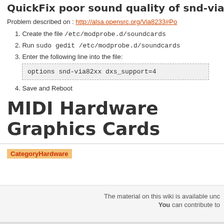QuickFix poor sound quality of snd-via82xx
Problem described on : http://alsa.opensrc.org/Via8233#Po
1. Create the file /etc/modprobe.d/soundcards
2. Run sudo gedit /etc/modprobe.d/soundcards
3. Enter the following line into the file:
options snd-via82xx dxs_support=4
4. Save and Reboot
MIDI Hardware
Graphics Cards
CategoryHardware
The material on this wiki is available unc
You can contribute to